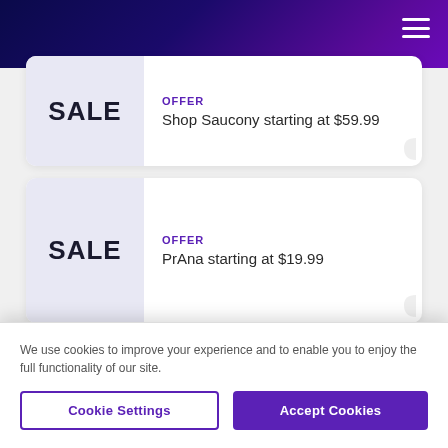Navigation header with gradient background and hamburger menu
OFFER
Shop Saucony starting at $59.99
OFFER
PrAna starting at $19.99
We use cookies to improve your experience and to enable you to enjoy the full functionality of our site.
Cookie Settings
Accept Cookies